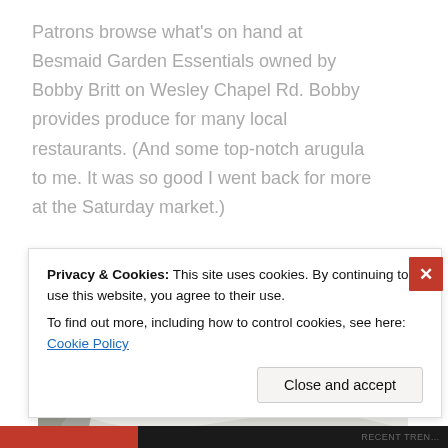Patrons browse what's on hand at Besmaid Garden Essentials owned by Bobby Britt on Wesley Chapel Rd. Bobby provides produce for many local restaurants. (And some top-notch arugula to me. It was so good I went back for more at the Saturday market.)
[Figure (photo): A bag of fresh broccoli florets, showing green and dark purple/grey broccoli heads in a white plastic bag]
Privacy & Cookies: This site uses cookies. By continuing to use this website, you agree to their use.
To find out more, including how to control cookies, see here: Cookie Policy
RECENT TREN...